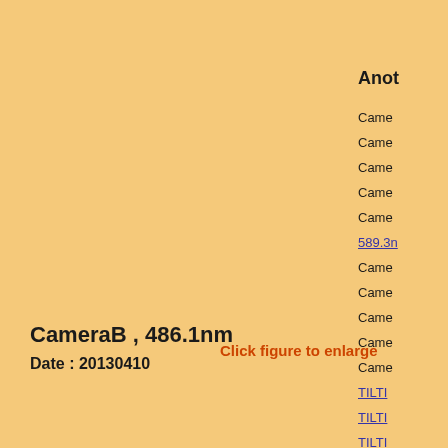Anot
Came
Came
Came
Came
Came
589.3n
Came
Came
Came
Came
Came
TILTI
TILTI
TILTI
Fabry-
FPI02
FPI02
FPI03
FPI03
FPI04
CameraB , 486.1nm
Date : 20130410
Click figure to enlarge